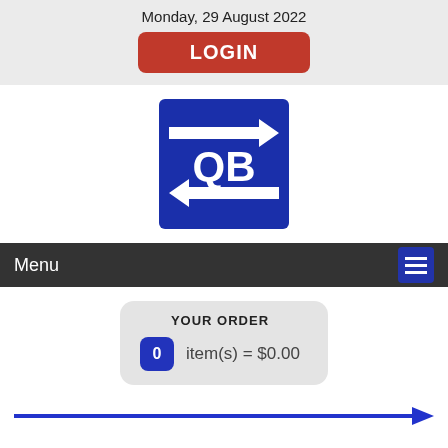Monday, 29 August 2022
LOGIN
[Figure (logo): QB logo — blue square with white arrows pointing right (top) and left (bottom), and white letters QB in the center]
Menu
YOUR ORDER
0 item(s) = $0.00
[Figure (other): Blue horizontal arrow pointing right]
ARCHIVE ISSUES